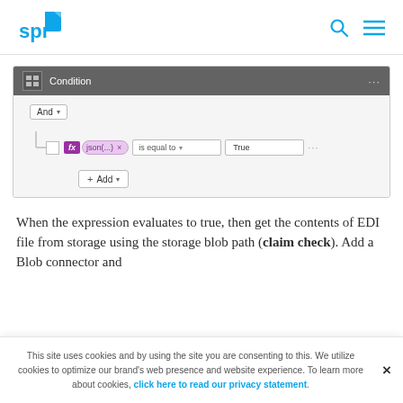SPR logo with search and menu icons
[Figure (screenshot): Microsoft Power Automate Condition block UI showing: And dropdown, a row with checkbox, fx badge, json(...) pill with x, 'is equal to' dropdown, 'True' text field, ellipsis menu, and an Add button below.]
When the expression evaluates to true, then get the contents of EDI file from storage using the storage blob path (claim check). Add a Blob connector and
This site uses cookies and by using the site you are consenting to this. We utilize cookies to optimize our brand's web presence and website experience. To learn more about cookies, click here to read our privacy statement.